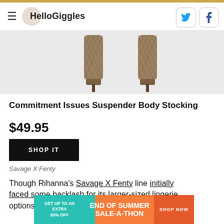HelloGiggles
[Figure (photo): Two pairs of legs wearing fishnet stockings and high heels on a white background]
Commitment Issues Suspender Body Stocking
$49.95
SHOP IT
Savage X Fenty
Though Rihanna's Savage X Fenty line initially faced some backlash for its larger-sized lingerie options being less revealing and playful than the
[Figure (infographic): End of Summer Sale-A-Thon advertisement banner: GET UP TO AN EXTRA 50% OFF | END OF SUMMER SALE-A-THON | SHOP NOW]